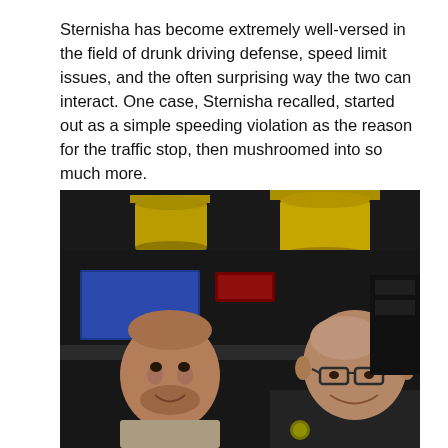Sternisha has become extremely well-versed in the field of drunk driving defense, speed limit issues, and the often surprising way the two can interact. One case, Sternisha recalled, started out as a simple speeding violation as the reason for the traffic stop, then mushroomed into so much more.
[Figure (photo): Two men smiling at the camera inside what appears to be a restaurant or cafe. Yellow cylindrical pendant lights hang from the ceiling. The man on the right is wearing a dark uniform with a badge, suggesting he is a law enforcement officer. The man on the left is younger with light stubble.]